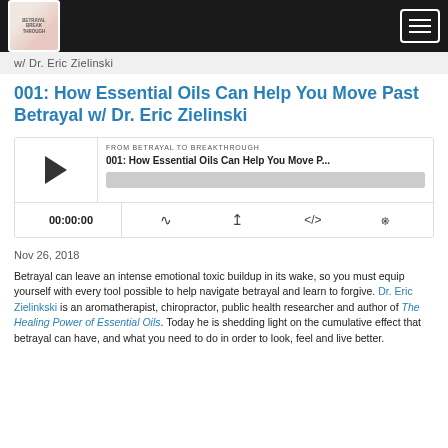w/ Dr. Eric Zielinski
001: How Essential Oils Can Help You Move Past Betrayal w/ Dr. Eric Zielinski
[Figure (screenshot): Podcast audio player showing episode 001: How Essential Oils Can Help You Move P... with play button, time 00:00:00, and control icons for cast, download, embed, and settings]
Nov 26, 2018
Betrayal can leave an intense emotional toxic buildup in its wake, so you must equip yourself with every tool possible to help navigate betrayal and learn to forgive. Dr. Eric Zielinkski is an aromatherapist, chiropractor, public health researcher and author of The Healing Power of Essential Oils. Today he is shedding light on the cumulative effect that betrayal can have, and what you need to do in order to look, feel and live better.